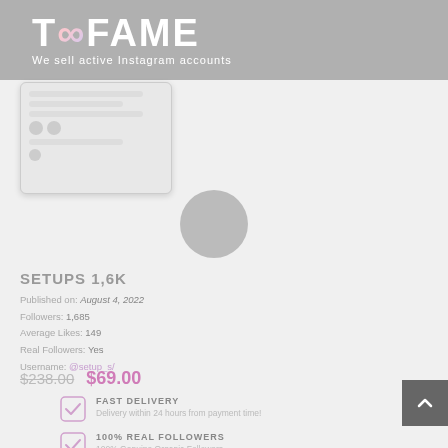[Figure (logo): TooFame logo with infinity symbol - We sell active Instagram accounts]
[Figure (screenshot): Screenshot of an Instagram post with comments]
SETUPS 1,6K
Published on: August 4, 2022
Followers: 1,685
Average Likes: 149
Real Followers: Yes
Username: @setup_s/
$238.00  $69.00
FAST DELIVERY
Delivery within 24 hours from payment time!
100% REAL FOLLOWERS
100% Genuine Organic Followers